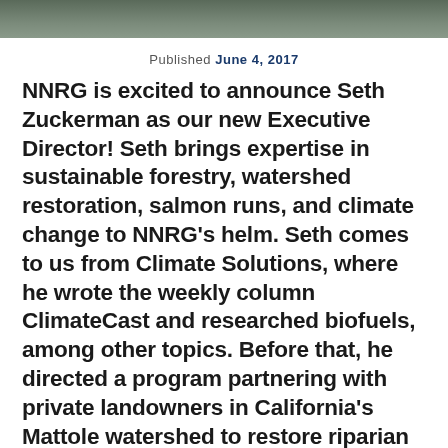[Figure (photo): Photo strip at top of page — partial image of a person or outdoor scene]
Published June 4, 2017
NNRG is excited to announce Seth Zuckerman as our new Executive Director! Seth brings expertise in sustainable forestry, watershed restoration, salmon runs, and climate change to NNRG's helm. Seth comes to us from Climate Solutions, where he wrote the weekly column ClimateCast and researched biofuels, among other topics. Before that, he directed a program partnering with private landowners in California's Mattole watershed to restore riparian